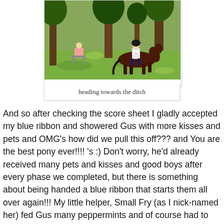[Figure (photo): Outdoor photo of a person riding a dark brown horse through a grassy area with trees, while another person sits in a chair in the background. Caption reads: heading towards the ditch.]
heading towards the ditch
And so after checking the score sheet I gladly accepted my blue ribbon and showered Gus with more kisses and pets and OMG's how did we pull this off??? and You are the best pony ever!!!! 's :) Don't worry, he'd already received many pets and kisses and good boys after every phase we completed, but there is something about being handed a blue ribbon that starts them all over again!!! My little helper, Small Fry (as I nick-named her) fed Gus many peppermints and of course had to put her hat on him because winners wear hats right? And Gus being the best little pony in the world (ok so he's not a real pony since he's 15.3, but being